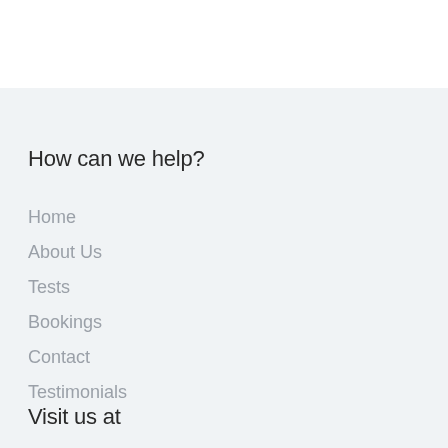How can we help?
Home
About Us
Tests
Bookings
Contact
Testimonials
Visit us at